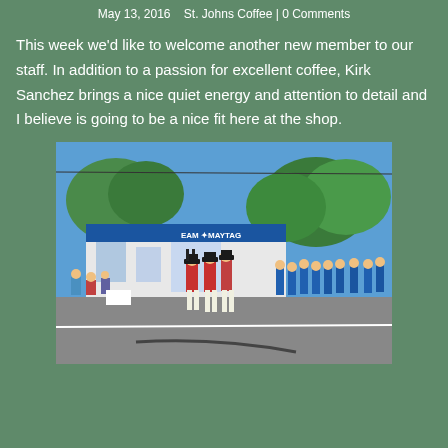May 13, 2016   St. Johns Coffee | 0 Comments
This week we'd like to welcome another new member to our staff. In addition to a passion for excellent coffee, Kirk Sanchez brings a nice quiet energy and attention to detail and I believe is going to be a nice fit here at the shop.
[Figure (photo): Outdoor parade scene on a sunny day. Performers dressed in colonial-era red and white uniforms marching down a street. Behind them a group in blue uniforms. Spectators on the left sidewalk. A blue-fronted Maytag appliance store (EAM Maytag) visible in the background with trees and blue sky.]